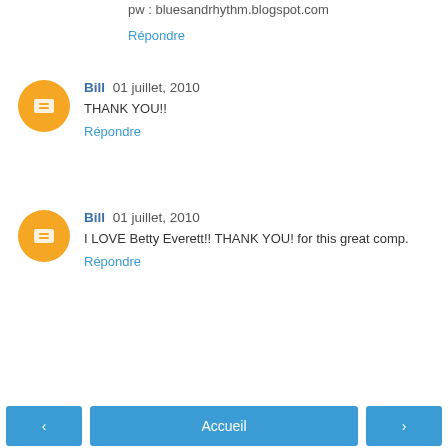pw : bluesandrhythm.blogspot.com
Répondre
Bill  01 juillet, 2010
THANK YOU!!
Répondre
Bill  01 juillet, 2010
I LOVE Betty Everett!! THANK YOU! for this great comp.
Répondre
‹  Accueil  ›